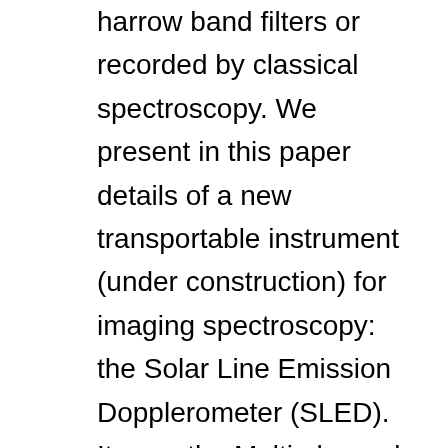harrow band filters or recorded by classical spectroscopy. We present in this paper details of a new transportable instrument (under construction) for imaging spectroscopy: the Solar Line Emission Dopplerometer (SLED). It uses the Multi-channel Subtractive Double Pass (MSDP) technique, which combines the